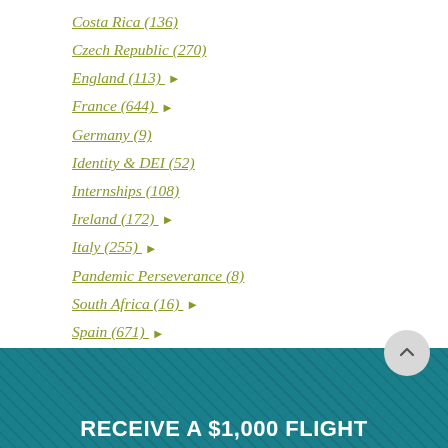Costa Rica (136)
Czech Republic (270)
England (113) ▶
France (644) ▶
Germany (9)
Identity & DEI (52)
Internships (108)
Ireland (172) ▶
Italy (255) ▶
Pandemic Perseverance (8)
South Africa (16) ▶
Spain (671) ▶
RECEIVE A $1,000 FLIGHT